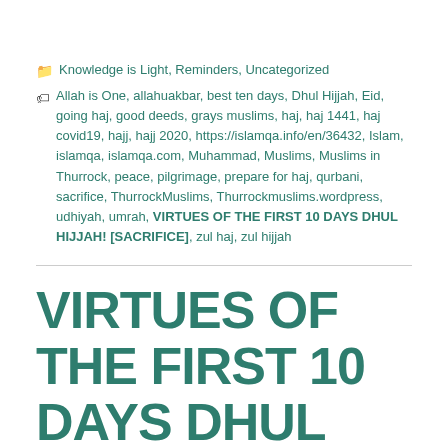Knowledge is Light, Reminders, Uncategorized
Allah is One, allahuakbar, best ten days, Dhul Hijjah, Eid, going haj, good deeds, grays muslims, haj, haj 1441, haj covid19, hajj, hajj 2020, https://islamqa.info/en/36432, Islam, islamqa, islamqa.com, Muhammad, Muslims, Muslims in Thurrock, peace, pilgrimage, prepare for haj, qurbani, sacrifice, ThurrockMuslims, Thurrockmuslims.wordpress, udhiyah, umrah, VIRTUES OF THE FIRST 10 DAYS DHUL HIJJAH! [SACRIFICE], zul haj, zul hijjah
VIRTUES OF THE FIRST 10 DAYS DHUL HIJJAH! [SACRIFICE]